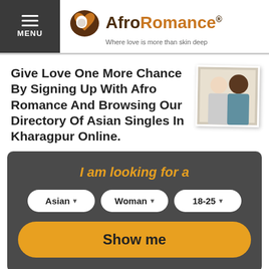MENU | AfroRomance® Where love is more than skin deep
Give Love One More Chance By Signing Up With Afro Romance And Browsing Our Directory Of Asian Singles In Kharagpur Online.
I am looking for a
Asian ▾  Woman ▾  18-25 ▾
Show me
[Figure (photo): Three profile photo thumbnails of users at the bottom of the page]